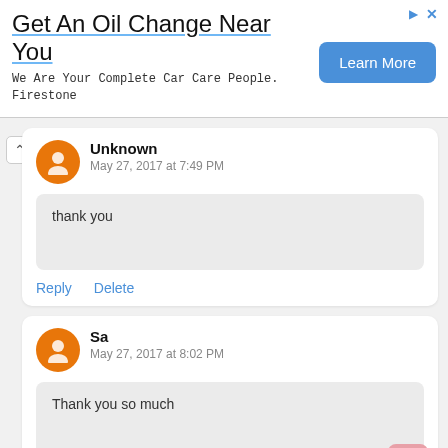[Figure (screenshot): Advertisement banner: 'Get An Oil Change Near You' with 'Learn More' button and Firestone tagline]
Unknown
May 27, 2017 at 7:49 PM

thank you

Reply   Delete
Sa
May 27, 2017 at 8:02 PM

Thank you so much

Reply   Delete